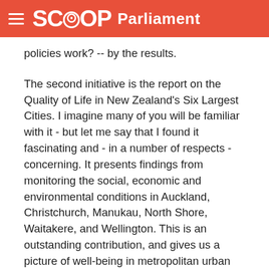SCOOP Parliament
policies work? -- by the results.
The second initiative is the report on the Quality of Life in New Zealand's Six Largest Cities. I imagine many of you will be familiar with it - but let me say that I found it fascinating and - in a number of respects - concerning. It presents findings from monitoring the social, economic and environmental conditions in Auckland, Christchurch, Manukau, North Shore, Waitakere, and Wellington. This is an outstanding contribution, and gives us a picture of well-being in metropolitan urban New Zealand, where 40 per cent of our population live. What I most liked about it was that it brought together indicators on a whole range of conditions which